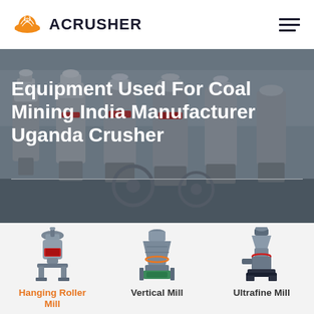[Figure (logo): Acrusher logo: orange hard-hat icon with text ACRUSHER]
Equipment Used For Coal Mining India Manufacturer Uganda Crusher
[Figure (photo): Industrial factory floor with large grey grinding/milling machines in a row]
[Figure (illustration): Three product images: Hanging Roller Mill, Vertical Mill, Ultrafine Mill]
Hanging Roller Mill
Vertical Mill
Ultrafine Mill